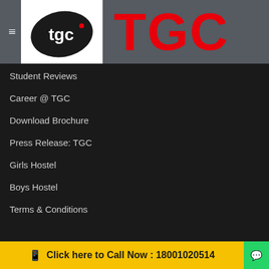[Figure (logo): TGC logo: black teardrop shape with 'tgc' text in white on the left, and large bold red 'TGC' text on the right, on a grey header bar with hamburger menu icon]
Student Reviews
Career @ TGC
Download Brochure
Press Release: TGC
Girls Hostel
Boys Hostel
Terms & Conditions
TGC ANIMATION & MULTIMEDIA
Jaipur Branch:
Click here to Call Now : 18001020514